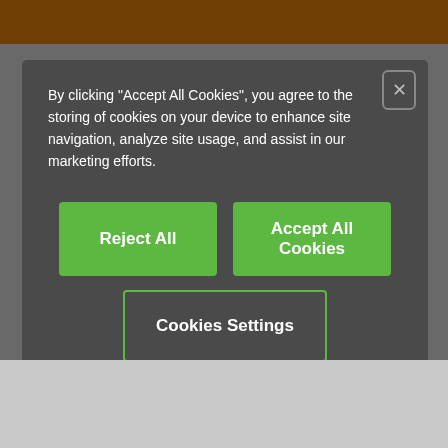[Figure (screenshot): Background screenshot of a website with orange top bar, gray background, agent profile photo strip, name Luther Tan, phone +65 6487 1411, Write e-mail button, and Chat Now widget]
[Figure (screenshot): Cookie consent modal dialog with dark gray background. Contains text about cookies, three buttons: Reject All, Accept All Cookies, Cookies Settings. Has close X button in top right corner.]
By clicking “Accept All Cookies”, you agree to the storing of cookies on your device to enhance site navigation, analyze site usage, and assist in our marketing efforts.
Reject All
Accept All Cookies
Cookies Settings
Luther Tan
+65 6487 1411
Write e-mail
Chat Now